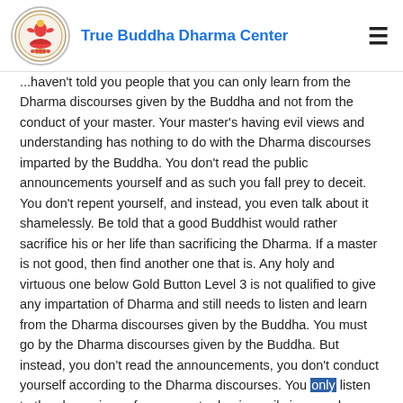True Buddha Dharma Center
...haven't told you people that you can only learn from the Dharma discourses given by the Buddha and not from the conduct of your master. Your master's having evil views and understanding has nothing to do with the Dharma discourses imparted by the Buddha. You don't read the public announcements yourself and as such you fall prey to deceit. You don't repent yourself, and instead, you even talk about it shamelessly. Be told that a good Buddhist would rather sacrifice his or her life than sacrificing the Dharma. If a master is not good, then find another one that is. Any holy and virtuous one below Gold Button Level 3 is not qualified to give any impartation of Dharma and still needs to listen and learn from the Dharma discourses given by the Buddha. You must go by the Dharma discourses given by the Buddha. But instead, you don't read the announcements, you don't conduct yourself according to the Dharma discourses. You only listen to the shenanigans from a master having evil views and understanding. You get deceived because that is the